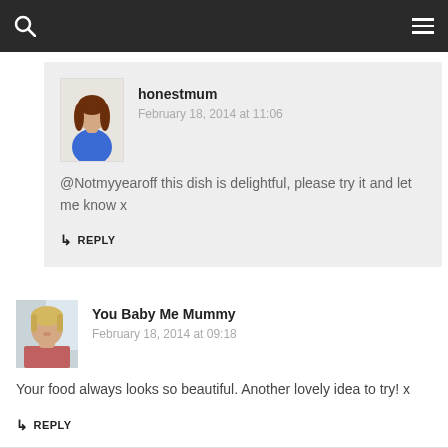honestmum
February 18, 2014 at 11:06
@Notmyyearoff this dish is delightful, please try it and let me know x
REPLY
You Baby Me Mummy
February 18, 2014 at 09:18
Your food always looks so beautiful. Another lovely idea to try! x
REPLY